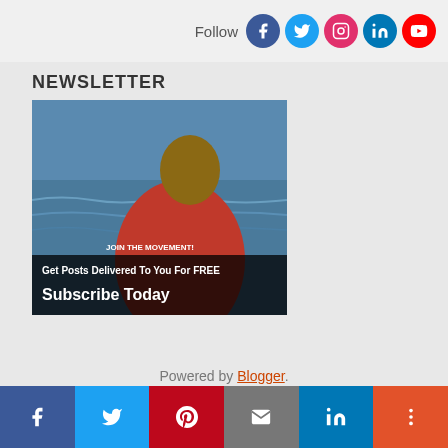Follow [Facebook] [Twitter] [Instagram] [LinkedIn] [YouTube]
NEWSLETTER
[Figure (photo): Man in red t-shirt reading 'JOIN THE MOVEMENT!' facing the sea, with overlay text: 'Get Posts Delivered To You For FREE Subscribe Today']
Powered by Blogger.
Share buttons: Facebook, Twitter, Pinterest, Email, LinkedIn, More